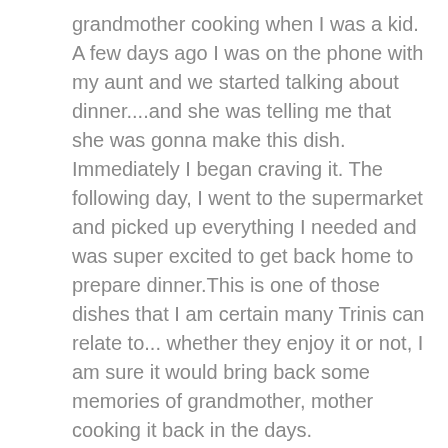grandmother cooking when I was a kid. A few days ago I was on the phone with my aunt and we started talking about dinner....and she was telling me that she was gonna make this dish. Immediately I began craving it. The following day, I went to the supermarket and picked up everything I needed and was super excited to get back home to prepare dinner.This is one of those dishes that I am certain many Trinis can relate to... whether they enjoy it or not, I am sure it would bring back some memories of grandmother, mother cooking it back in the days.
It's a very quick and easy dish and also an excellent vegetarian dinner option....so here's my recipe:
INGREDIENTS: